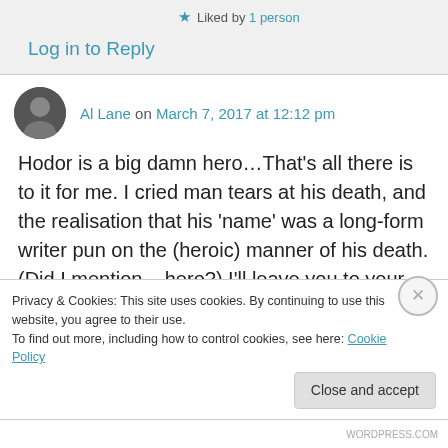★ Liked by 1 person
Log in to Reply
Al Lane on March 7, 2017 at 12:12 pm
Hodor is a big damn hero…That's all there is to it for me. I cried man tears at his death, and the realisation that his 'name' was a long-form writer pun on the (heroic) manner of his death. (Did I mention – hero?) I'll leave you to your time travel
Privacy & Cookies: This site uses cookies. By continuing to use this website, you agree to their use.
To find out more, including how to control cookies, see here: Cookie Policy
Close and accept